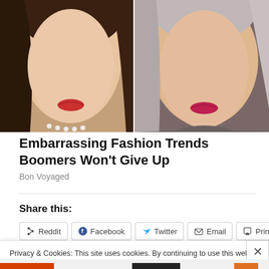[Figure (photo): Two women's faces close-up side by side. Left woman has brown hair and wears a pearl necklace. Right woman has gray/silver hair. Both wear red/pink lipstick.]
Embarrassing Fashion Trends Boomers Won't Give Up
Bon Voyaged
Share this:
Privacy & Cookies: This site uses cookies. By continuing to use this website, you agree to their use.
To find out more, including how to control cookies, see here: Cookie Policy
Close and accept